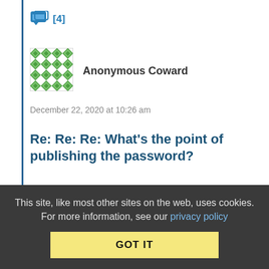[Figure (other): Comment icon (speech bubble) with count [4]]
[Figure (other): Green diamond-pattern avatar for Anonymous Coward]
Anonymous Coward
December 22, 2020 at 10:26 am
Re: Re: Re: What's the point of publishing the password?
"you have any idea how annoying it is to change your passwords on 30 different systems every fucking week when some hackers gets access to the data."
If one is not up to the task, perhaps they should just stay home and let those more capable handle the situation.
This site, like most other sites on the web, uses cookies. For more information, see our privacy policy
GOT IT